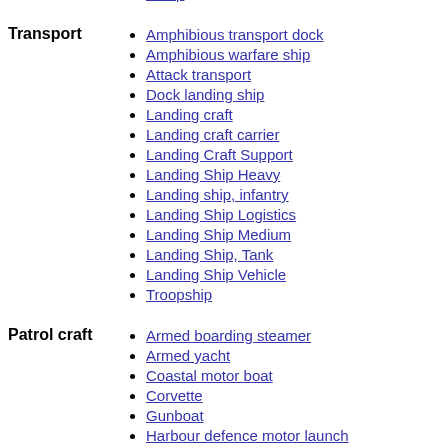Sloop
Amphibious transport dock
Amphibious warfare ship
Attack transport
Dock landing ship
Landing craft
Landing craft carrier
Landing Craft Support
Landing Ship Heavy
Landing ship, infantry
Landing Ship Logistics
Landing Ship Medium
Landing Ship, Tank
Landing Ship Vehicle
Troopship
Armed boarding steamer
Armed yacht
Coastal motor boat
Corvette
Gunboat
Harbour defence motor launch
Motor Launch
Naval drifter
Naval trawler